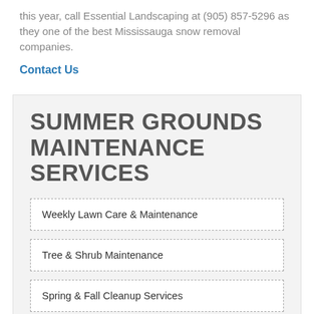this year, call Essential Landscaping at (905) 857-5296 as they one of the best Mississauga snow removal companies.
Contact Us
SUMMER GROUNDS MAINTENANCE SERVICES
Weekly Lawn Care & Maintenance
Tree & Shrub Maintenance
Spring & Fall Cleanup Services